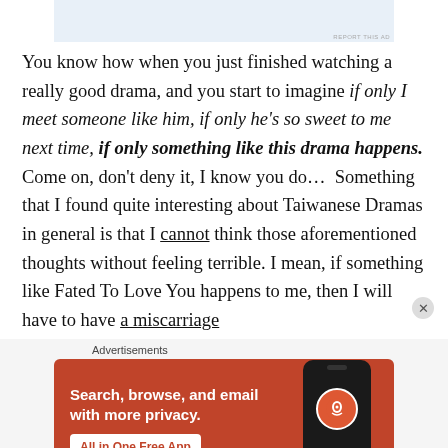[Figure (screenshot): Top advertisement banner cropped at top, light blue background with partial logo visible. 'REPORT THIS AD' text in small gray letters at bottom right.]
You know how when you just finished watching a really good drama, and you start to imagine if only I meet someone like him, if only he's so sweet to me next time, if only something like this drama happens. Come on, don't deny it, I know you do…  Something that I found quite interesting about Taiwanese Dramas in general is that I cannot think those aforementioned thoughts without feeling terrible. I mean, if something like Fated To Love You happens to me, then I will have to have a miscarriage
[Figure (screenshot): DuckDuckGo advertisement banner on orange-red background. Text: 'Search, browse, and email with more privacy. All in One Free App' with DuckDuckGo logo and phone mockup on right side.]